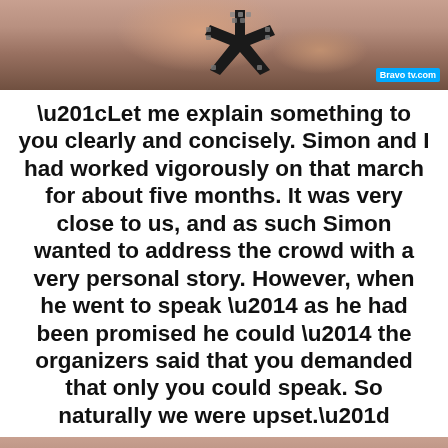[Figure (photo): Close-up photo of fingers holding a black studded star-shaped accessory, with a Bravo TV watermark in the bottom right corner.]
“Let me explain something to you clearly and concisely. Simon and I had worked vigorously on that march for about five months. It was very close to us, and as such Simon wanted to address the crowd with a very personal story. However, when he went to speak — as he had been promised he could — the organizers said that you demanded that only you could speak. So naturally we were upset.”
[Figure (photo): Partial photo at the bottom of the page, showing what appears to be a person, cropped.]